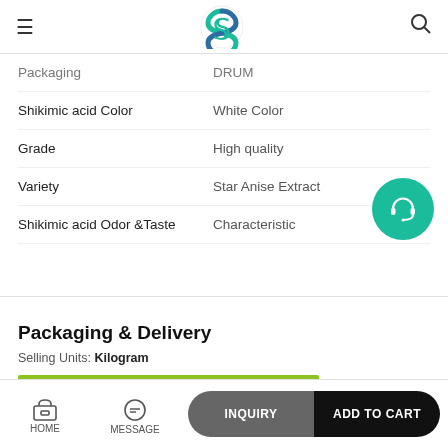Header with logo, hamburger menu, and search icon
| Property | Value |
| --- | --- |
| Packaging | DRUM |
| Shikimic acid Color | White Color |
| Grade | High quality |
| Variety | Star Anise Extract |
| Shikimic acid Odor &Taste | Characteristic |
Packaging & Delivery
Selling Units: Kilogram
Factory supply high quality Shikimic acid
HOME | MESSAGE | INQUIRY | ADD TO CART